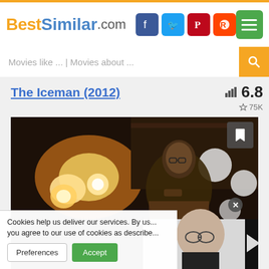BestSimilar.com
Movies like ... | Movies about ...
The Iceman (2012)
6.8 | 75K
[Figure (photo): Movie scene from The Iceman (2012) showing a man holding a gun in a dimly lit setting with bright lights in background. A video thumbnail overlay shows a bald man with glasses.]
Cookies help us deliver our services. By us... you agree to our use of cookies as describe...
Preferences | Accept